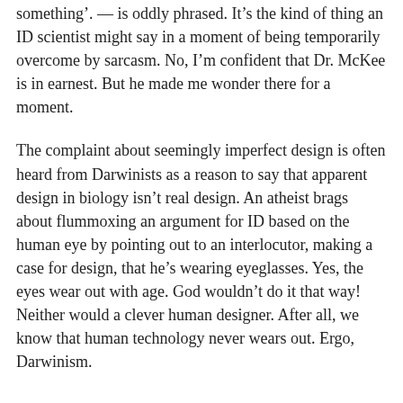something'. — is oddly phrased. It's the kind of thing an ID scientist might say in a moment of being temporarily overcome by sarcasm. No, I'm confident that Dr. McKee is in earnest. But he made me wonder there for a moment.
The complaint about seemingly imperfect design is often heard from Darwinists as a reason to say that apparent design in biology isn't real design. An atheist brags about flummoxing an argument for ID based on the human eye by pointing out to an interlocutor, making a case for design, that he's wearing eyeglasses. Yes, the eyes wear out with age. God wouldn't do it that way! Neither would a clever human designer. After all, we know that human technology never wears out. Ergo, Darwinism.